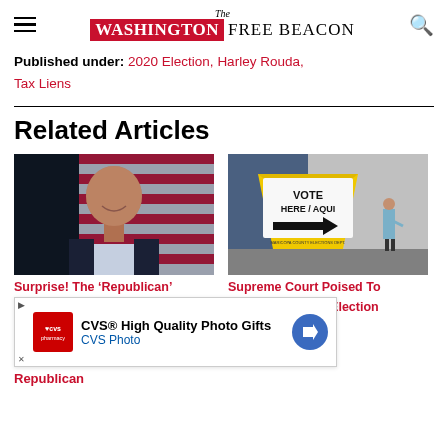The Washington Free Beacon
Published under: 2020 Election, Harley Rouda, Tax Liens
Related Articles
[Figure (photo): Man posing in front of an American flag, bald, wearing a dark suit and light blue shirt, smiling]
[Figure (photo): Yellow 'VOTE HERE / AQUI' sandwich board sign with black arrow, Maricopa County Elections Dept., person walking in background]
Surprise! The 'Republican'
Supreme Court Poised To
[Figure (other): CVS advertisement banner: CVS High Quality Photo Gifts, CVS Photo]
g Election
Republican